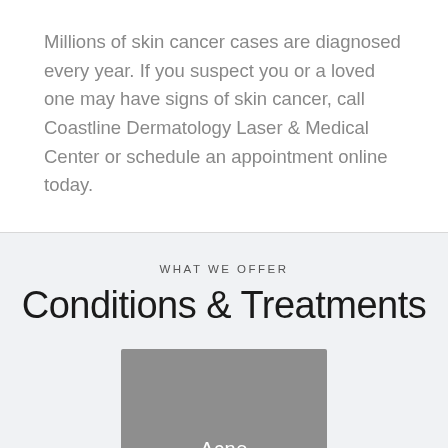Millions of skin cancer cases are diagnosed every year. If you suspect you or a loved one may have signs of skin cancer, call Coastline Dermatology Laser & Medical Center or schedule an appointment online today.
WHAT WE OFFER
Conditions & Treatments
[Figure (photo): Gray placeholder image box with the label 'Acne' in white text at the bottom center]